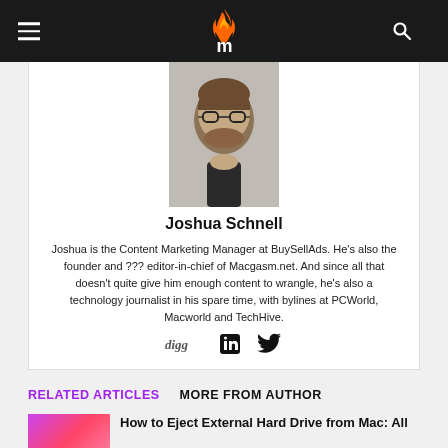Macgasm — navigation header with hamburger menu, flame logo, and search icon
[Figure (photo): Headshot of Joshua Schnell, a man with glasses and a beard wearing a dark shirt]
Joshua Schnell
Joshua is the Content Marketing Manager at BuySellAds. He's also the founder and ??? editor-in-chief of Macgasm.net. And since all that doesn't quite give him enough content to wrangle, he's also a technology journalist in his spare time, with bylines at PCWorld, Macworld and TechHive.
[Figure (infographic): Social media icons: digg, LinkedIn, Twitter]
RELATED ARTICLES   MORE FROM AUTHOR
How to Eject External Hard Drive from Mac: All